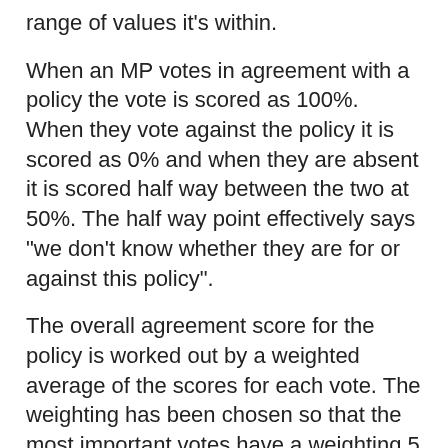range of values it's within.
When an MP votes in agreement with a policy the vote is scored as 100%. When they vote against the policy it is scored as 0% and when they are absent it is scored half way between the two at 50%. The half way point effectively says "we don't know whether they are for or against this policy".
The overall agreement score for the policy is worked out by a weighted average of the scores for each vote. The weighting has been chosen so that the most important votes have a weighting 5 times that of the less important votes. Also, absent votes on less important votes are weighted 5 times less again to not penalise MPs for not attending the less important votes.